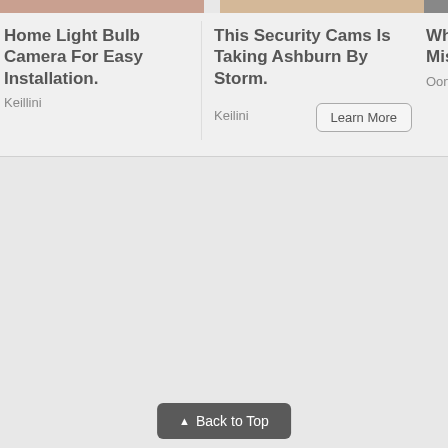[Figure (screenshot): Partial top strip showing images for three advertisement cards — skin/body image on left, food/bread image in center, dark image on right edge]
Home Light Bulb Camera For Easy Installation.
Keillini
This Security Cams Is Taking Ashburn By Storm.
Keilini
Learn More
Wha... Mis... Ooni
▲ Back to Top